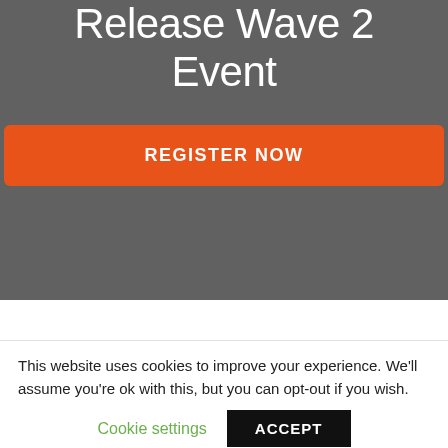Release Wave 2 Event
[Figure (other): Orange 'REGISTER NOW' button on dark grey background]
This website uses cookies to improve your experience. We'll assume you're ok with this, but you can opt-out if you wish.
Cookie settings
ACCEPT